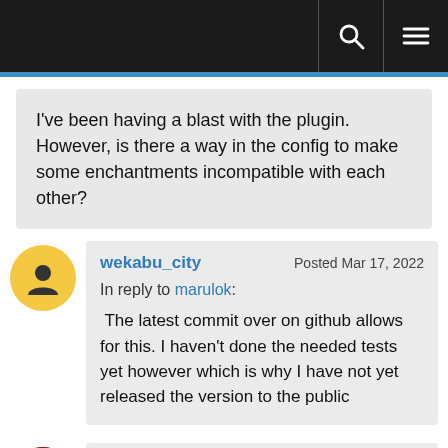[Navigation bar with search and menu icons]
I've been having a blast with the plugin. However, is there a way in the config to make some enchantments incompatible with each other?
wekabu_city  Posted Mar 17, 2022
In reply to marulok:
 The latest commit over on github allows for this. I haven't done the needed tests yet however which is why I have not yet released the version to the public
birthdaykage  Posted Feb 21, 2022
Hallo
[partial text cut off at bottom]